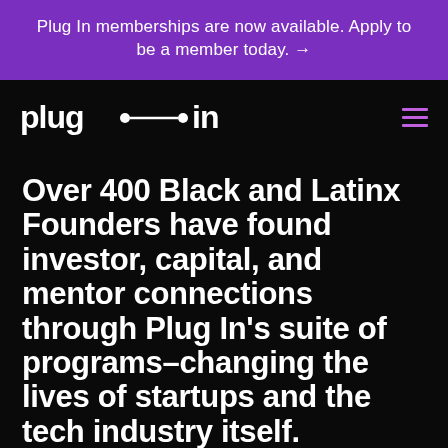Plug In memberships are now available. Apply to be a member today. →
[Figure (logo): Plug In logo: word 'plug' followed by a horizontal line with dots at each end, then word 'in', all in white on black background]
Over 400 Black and Latinx Founders have found investor, capital, and mentor connections through Plug In's suite of programs–changing the lives of startups and the tech industry itself.
Whether a start-up, a tech professional, or an investor